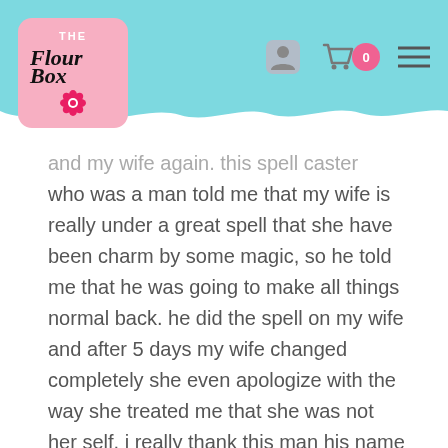The Flour Box - header with logo and navigation icons (user, cart with 0 items, menu)
and my wife again. this spell caster who was a man told me that my wife is really under a great spell that she have been charm by some magic, so he told me that he was going to make all things normal back. he did the spell on my wife and after 5 days my wife changed completely she even apologize with the way she treated me that she was not her self, i really thank this man his name is Dr ose he have bring back my wife back to me i want you all to contact him who are having any problem related to marriage issue and